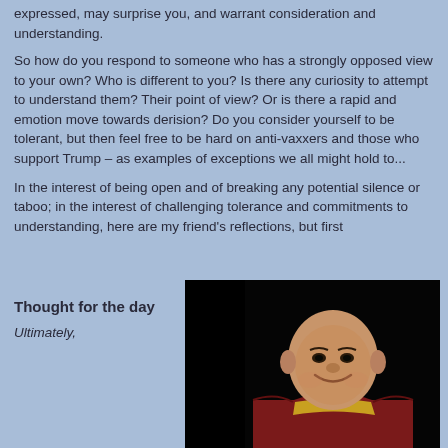expressed, may surprise you, and warrant consideration and understanding.
So how do you respond to someone who has a strongly opposed view to your own? Who is different to you? Is there any curiosity to attempt to understand them? Their point of view? Or is there a rapid and emotion move towards derision? Do you consider yourself to be tolerant, but then feel free to be hard on anti-vaxxers and those who support Trump – as examples of exceptions we all might hold to...
In the interest of being open and of breaking any potential silence or taboo; in the interest of challenging tolerance and commitments to understanding, here are my friend's reflections, but first
Thought for the day
Ultimately,
[Figure (photo): Portrait photo of a smiling bald monk wearing dark red and yellow robes against a black background]